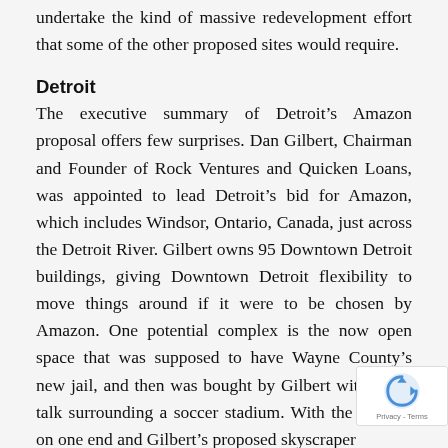undertake the kind of massive redevelopment effort that some of the other proposed sites would require.
Detroit
The executive summary of Detroit's Amazon proposal offers few surprises. Dan Gilbert, Chairman and Founder of Rock Ventures and Quicken Loans, was appointed to lead Detroit's bid for Amazon, which includes Windsor, Ontario, Canada, just across the Detroit River. Gilbert owns 95 Downtown Detroit buildings, giving Downtown Detroit flexibility to move things around if it were to be chosen by Amazon. One potential complex is the now open space that was supposed to have Wayne County's new jail, and then was bought by Gilbert with much talk surrounding a soccer stadium. With the old site on one end and Gilbert's proposed skyscraper